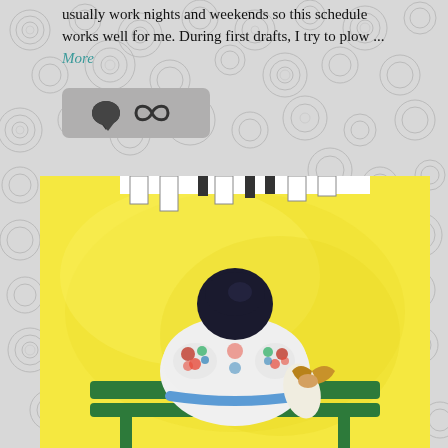usually work nights and weekends so this schedule works well for me. During first drafts, I try to plow ... More
[Figure (illustration): Gray circular swirly decorative background pattern covering the full page]
[Figure (illustration): Gray icon bar with speech bubble and infinity/link icons]
[Figure (illustration): Watercolor illustration on yellow background showing the back of a person with dark hair in a bun, wearing a decorative white jacket with floral embroidery, sitting on a green bench and holding a croissant. A spiral notebook binding is visible at the top of the image.]